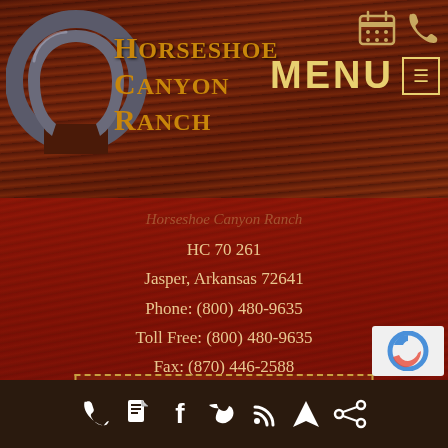[Figure (logo): Horseshoe Canyon Ranch logo with horseshoe graphic and stylized text]
MENU
Horseshoe Canyon Ranch
HC 70 261
Jasper, Arkansas 72641
Phone: (800) 480-9635
Toll Free: (800) 480-9635
Fax: (870) 446-2588
ASK THE RANCH A QUESTION
Privacy Policy
Sitemap   Log in   Website by InsideOut Solutions
Social media icons: phone, document, facebook, twitter, rss, location, share